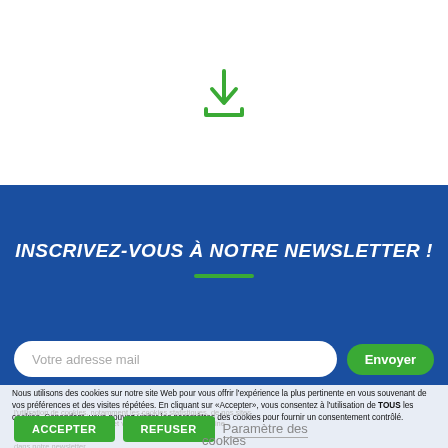[Figure (illustration): Green download icon (arrow pointing down into a tray) centered in the white upper section of the page]
INSCRIVEZ-VOUS À NOTRE NEWSLETTER !
[Figure (illustration): Short green horizontal bar/divider below the newsletter title]
Votre adresse mail
Envoyer
Nous utilisons des cookies sur notre site Web pour vous offrir l'expérience la plus pertinente en vous souvenant de vos préférences et des visites répétées. En cliquant sur «Accepter», vous consentez à l'utilisation de TOUS les cookies. Cependant, vous pouvez visiter les paramètres des cookies pour fournir un consentement contrôlé.
ACCEPTER
REFUSER
Paramètre des cookies